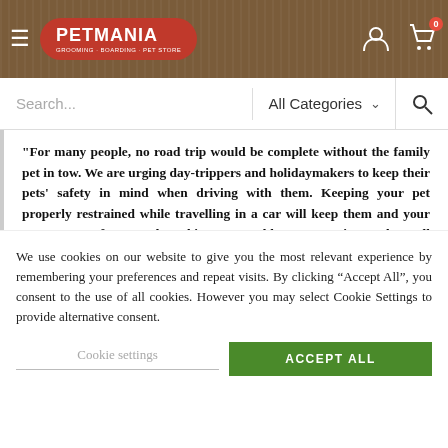PETMANIA — navigation header with hamburger menu, logo, user icon, and cart (0)
Search... | All Categories
"For many people, no road trip would be complete without the family pet in tow. We are urging day-trippers and holidaymakers to keep their pets' safety in mind when driving with them. Keeping your pet properly restrained while travelling in a car will keep them and your passengers safe. We're launching our Buckle Up campaign to share all our safety tips and tricks so everyone can enjoy the open road this summer."
We use cookies on our website to give you the most relevant experience by remembering your preferences and repeat visits. By clicking “Accept All”, you consent to the use of all cookies. However you may select Cookie Settings to provide alternative consent.
Cookie settings
ACCEPT ALL